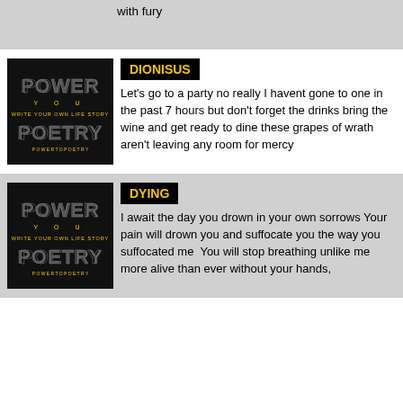with fury
[Figure (logo): Power Poetry logo — black background with stylized text POWER and POETRY in grey/yellow letters, tagline WRITE YOUR OWN LIFE STORY]
DIONISUS
Let's go to a party no really I havent gone to one in the past 7 hours but don't forget the drinks bring the wine and get ready to dine these grapes of wrath aren't leaving any room for mercy
[Figure (logo): Power Poetry logo — black background with stylized text POWER and POETRY in grey/yellow letters, tagline WRITE YOUR OWN LIFE STORY]
DYING
I await the day you drown in your own sorrows Your pain will drown you and suffocate you the way you suffocated me  You will stop breathing unlike me more alive than ever without your hands,